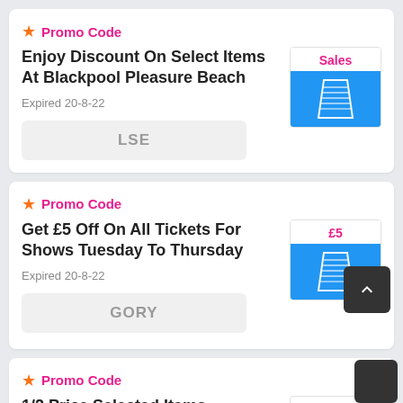★ Promo Code
Enjoy Discount On Select Items At Blackpool Pleasure Beach
Expired 20-8-22
LSE
[Figure (logo): Sales badge with Blackpool Pleasure Beach logo on blue background]
★ Promo Code
Get £5 Off On All Tickets For Shows Tuesday To Thursday
Expired 20-8-22
GORY
[Figure (logo): £5 badge with Blackpool Pleasure Beach logo on blue background]
★ Promo Code
1/2 Price Selected Items